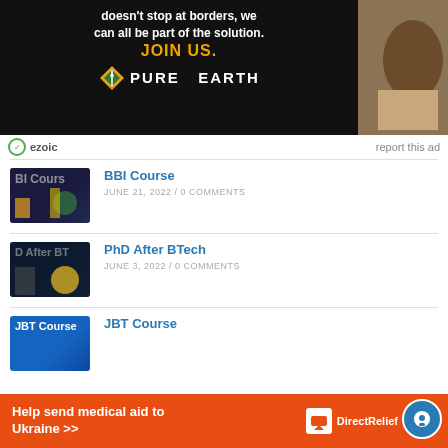[Figure (photo): Pure Earth advertisement banner with dark background, 'JOIN US.' text in orange, Pure Earth logo, and a person working with material on the right side]
ezoic   report this ad
[Figure (photo): BBI Course thumbnail - dark blue background with 'BI Cours' text visible]
BBI Course
JUNE 21, 2022 /  0 COMMENTS
[Figure (photo): PhD After BTech thumbnail - dark background with 'D After BT' text and yellow character illustration]
PhD After BTech
JUNE 3, 2022 /  0 COMMENTS
[Figure (photo): JBT Course thumbnail - blue background with 'JBT Course' text]
JBT Course
[Figure (photo): Direct Relief banner ad - orange background with 'Help send medical aid to Ukraine >>' and Direct Relief logo]